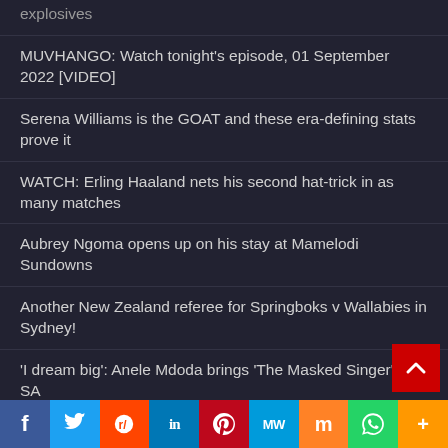explosives
MUVHANGO: Watch tonight's episode, 01 September 2022 [VIDEO]
Serena Williams is the GOAT and these era-defining stats prove it
WATCH: Erling Haaland nets his second hat-trick in as many matches
Aubrey Ngoma opens up on his stay at Mamelodi Sundowns
Another New Zealand referee for Springboks v Wallabies in Sydney!
'I dream big': Anele Mdoda brings 'The Masked Singer' to SA
R120 million chemical plant launched in KZN
… REDUCTIONS in … FRIDAY
f  Twitter  Reddit  in  Pinterest  MW  Mix  WhatsApp  More